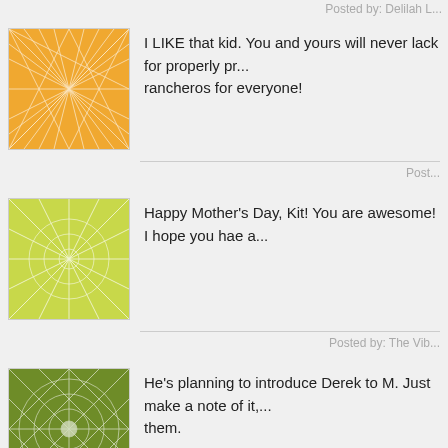Posted by: Delilah L...
[Figure (illustration): Orange geometric pattern avatar with white network lines on orange background]
I LIKE that kid. You and yours will never lack for properly pr... rancheros for everyone!
Post...
[Figure (illustration): Yellow-green geometric sunburst pattern avatar]
Happy Mother's Day, Kit! You are awesome! I hope you hae a...
Posted by: The Vib...
[Figure (illustration): Dark olive green geometric diamond pattern avatar with white starburst center]
He's planning to introduce Derek to M. Just make a note of it,... them.
Post...
[Figure (illustration): Blue-grey geometric starburst pattern avatar with white center]
Lol - that is too funny. I can absolutely seeing my son do and ... cute, thanks for sharing.